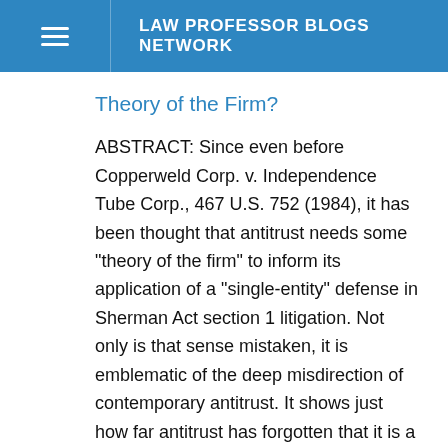LAW PROFESSOR BLOGS NETWORK
Theory of the Firm?
ABSTRACT: Since even before Copperweld Corp. v. Independence Tube Corp., 467 U.S. 752 (1984), it has been thought that antitrust needs some "theory of the firm" to inform its application of a "single-entity" defense in Sherman Act section 1 litigation. Not only is that sense mistaken, it is emblematic of the deep misdirection of contemporary antitrust. It shows just how far antitrust has forgotten that it is a law, a practical tool to implement policy choices made through our system of government. Much too much of the time, it seems to fancy itself rather an abstract policy seminar to be dabbled in by the federal bench and its academic support staff. The point to be made specifically in this paper is one small part